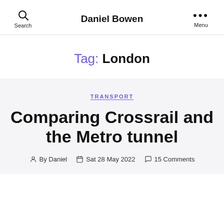Daniel Bowen | Search | Menu
Tag: London
TRANSPORT
Comparing Crossrail and the Metro tunnel
By Daniel  Sat 28 May 2022  15 Comments